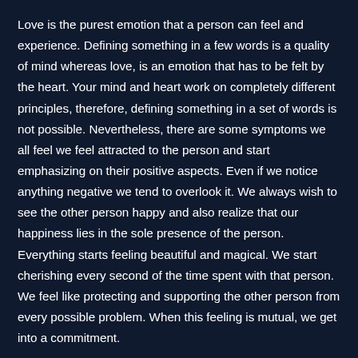Love is the purest emotion that a person can feel and experience. Defining something in a few words is a quality of mind whereas love, is an emotion that has to be felt by the heart. Your mind and heart work on completely different principles, therefore, defining something in a set of words is not possible. Nevertheless, there are some symptoms we all feel we feel attracted to the person and start emphasizing on their positive aspects. Even if we notice anything negative we tend to overlook it. We always wish to see the other person happy and also realize that our happiness lies in the sole presence of the person. Everything starts feeling beautiful and magical. We start cherishing every second of the time spent with that person. We feel like protecting and supporting the other person from every possible problem. When this feeling is mutual, we get into a commitment.
Where did we go wrong?